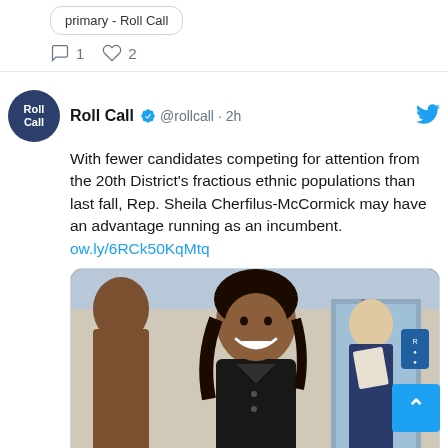primary - Roll Call
1  2
[Figure (screenshot): Twitter/X post from Roll Call (@rollcall, 2h ago) with verified badge. Tweet text: 'With fewer candidates competing for attention from the 20th District's fractious ethnic populations than last fall, Rep. Sheila Cherfilus-McCormick may have an advantage running as an incumbent. ow.ly/6RCk50KqMtq'. Includes a photo of a smiling Black woman in a black jacket in front of a glass door entrance, with other people partially visible. Below the image is a card preview from rollcall.com with headline 'Lack of competitive seats makes Florida primaries more important - Roll Call'. A blue scroll-to-top button is in the bottom right corner.]
rollcall.com
Lack of competitive seats makes Florida primaries more important - Roll Call